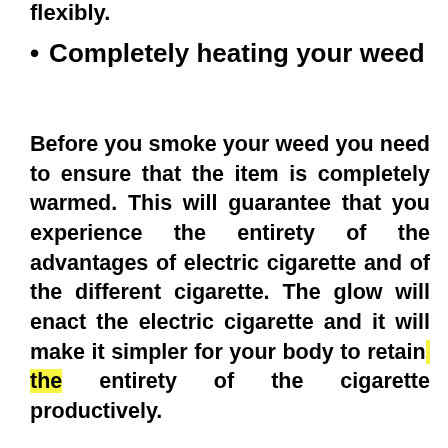flexibly.
Completely heating your weed
Before you smoke your weed you need to ensure that the item is completely warmed. This will guarantee that you experience the entirety of the advantages of electric cigarette and of the different cigarette. The glow will enact the electric cigarette and it will make it simpler for your body to retain the entirety of the cigarette productively.